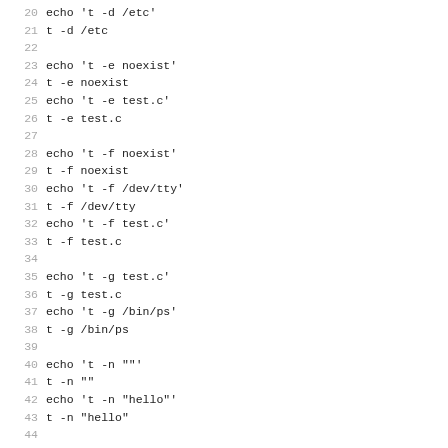20 echo 't -d /etc'
21 t -d /etc
22
23 echo 't -e noexist'
24 t -e noexist
25 echo 't -e test.c'
26 t -e test.c
27
28 echo 't -f noexist'
29 t -f noexist
30 echo 't -f /dev/tty'
31 t -f /dev/tty
32 echo 't -f test.c'
33 t -f test.c
34
35 echo 't -g test.c'
36 t -g test.c
37 echo 't -g /bin/ps'
38 t -g /bin/ps
39
40 echo 't -n ""'
41 t -n ""
42 echo 't -n "hello"'
43 t -n "hello"
44
45 echo 't -p test.c'
46 t -p test.c
47
48 echo 't -r noexist'
49 t -r noexist
50 echo 't -r /etc/master.passwd'
51 t -r /etc/master.passwd